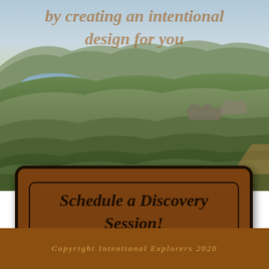[Figure (photo): Background landscape photo of green rolling hills with a lake and overcast sky, reminiscent of Scottish Highlands]
by creating an intentional design for you
Schedule a Discovery Session!
Copyright Intentional Explorers 2020